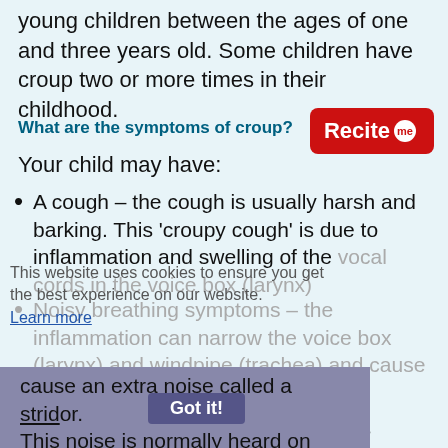young children between the ages of one and three years old. Some children have croup two or more times in their childhood.
What are the symptoms of croup?
[Figure (logo): Recite me button - red rounded rectangle with white text 'Recite' and 'me' badge]
Your child may have:
A cough – the cough is usually harsh and barking. This 'croupy cough' is due to inflammation and swelling of the vocal cords in the voice box (larynx)
Noisy breathing symptoms – the inflammation can narrow the voice box (larynx) and windpipe (trachea) and cause an extra noise called a stridor. This noise is normally heard on breathing in
This website uses cookies to ensure you get the best experience on our website. Learn more
Got it!
Breathing may become difficult if the